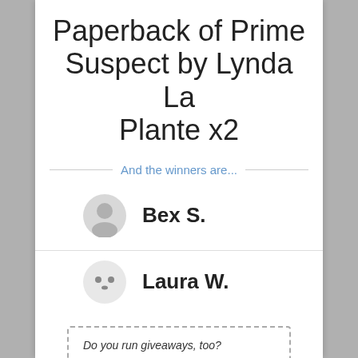Paperback of Prime Suspect by Lynda La Plante x2
And the winners are...
Bex S.
Laura W.
Do you run giveaways, too? Try Rafflecopter! It's free.